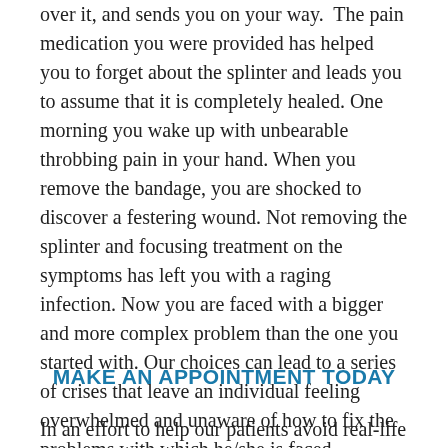over it, and sends you on your way. The pain medication you were provided has helped you to forget about the splinter and leads you to assume that it is completely healed. One morning you wake up with unbearable throbbing pain in your hand. When you remove the bandage, you are shocked to discover a festering wound. Not removing the splinter and focusing treatment on the symptoms has left you with a raging infection. Now you are faced with a bigger and more complex problem than the one you started with. Our choices can lead to a series of crises that leave an individual feeling overwhelmed and unaware of how to fix the problems with which he/she is faced.
MAKE AN APPOINTMENT TODAY
In an effort to help our patients avoid real-life